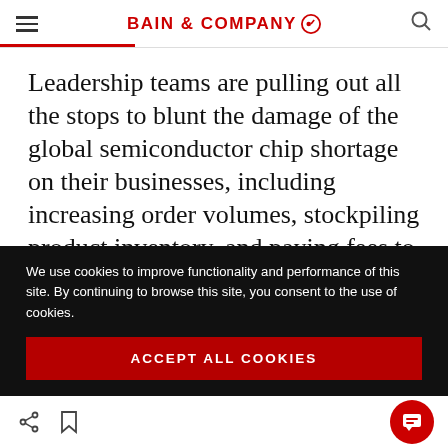BAIN & COMPANY
Leadership teams are pulling out all the stops to blunt the damage of the global semiconductor chip shortage on their businesses, including increasing order volumes, stockpiling product inventory, and paying fees to expedite shipments. But many are overlooking a critical
We use cookies to improve functionality and performance of this site. By continuing to browse this site, you consent to the use of cookies.
ACCEPT ALL COOKIES